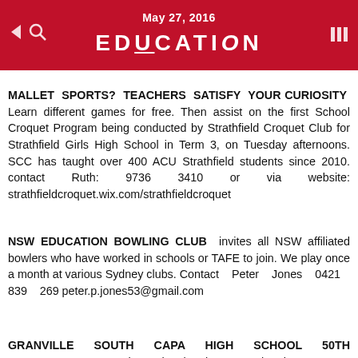May 27, 2016 EDUCATION
MALLET SPORTS? TEACHERS SATISFY YOUR CURIOSITY Learn different games for free. Then assist on the first School Croquet Program being conducted by Strathfield Croquet Club for Strathfield Girls High School in Term 3, on Tuesday afternoons. SCC has taught over 400 ACU Strathfield students since 2010. contact Ruth: 9736 3410 or via website: strathfieldcroquet.wix.com/strathfieldcroquet
NSW EDUCATION BOWLING CLUB invites all NSW affiliated bowlers who have worked in schools or TAFE to join. We play once a month at various Sydney clubs. Contact Peter Jones 0421 839 269 peter.p.jones53@gmail.com
GRANVILLE SOUTH CAPA HIGH SCHOOL 50TH ANNIVERSARY Saturday 30th July, Dinner at Holroyd